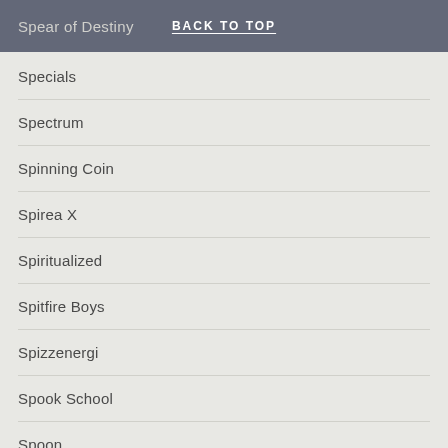Spear of Destiny | BACK TO TOP
Specials
Spectrum
Spinning Coin
Spirea X
Spiritualized
Spitfire Boys
Spizzenergi
Spook School
Spoon
Spring Boutique
Spring King
Squeeze